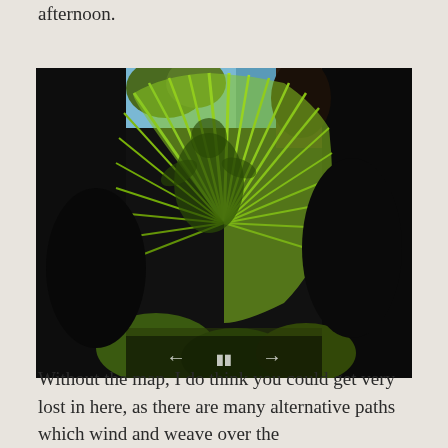afternoon.
[Figure (photo): A photo of a large bright green tropical fan palm leaf with a human shadow cast on it, surrounded by dark tropical vegetation. The image is displayed in a video/slideshow player interface with a dark border and prev/pause/next controls at the bottom center.]
Without the map, I do think you could get very lost in here, as there are many alternative paths which wind and weave over the